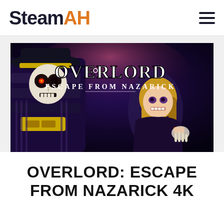SteamAH
[Figure (illustration): Promotional artwork for 'Overlord: Escape from Nazarick' game, showing a skeletal armored villain character with glowing red eye and a blonde anime girl character, with the game title 'OVERLORD ESCAPE FROM NAZARICK' in stylized white text on a dark fantasy background.]
OVERLORD: ESCAPE FROM NAZARICK 4k